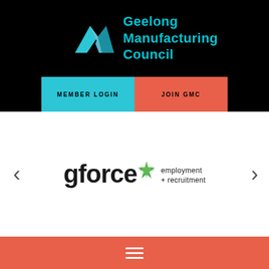[Figure (logo): Geelong Manufacturing Council logo with teal geometric chevron/arrow icon and teal text reading 'Geelong Manufacturing Council']
MEMBER LOGIN
JOIN GMC
[Figure (logo): gforce employment + recruitment logo with dark bold 'gforce' text, a green/teal 4-pointed star, and smaller text 'employment + recruitment']
[Figure (other): Hamburger menu icon (three horizontal white lines) on coral/orange footer bar]